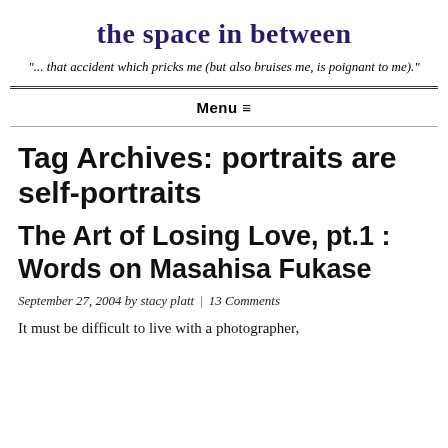the space in between
"... that accident which pricks me (but also bruises me, is poignant to me)."
Menu ≡
Tag Archives: portraits are self-portraits
The Art of Losing Love, pt.1 : Words on Masahisa Fukase
September 27, 2004 by stacy platt | 13 Comments
It must be difficult to live with a photographer,